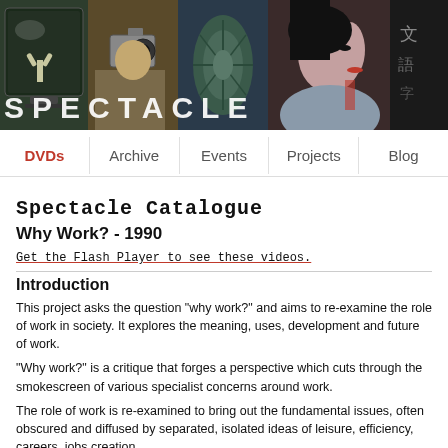[Figure (photo): Spectacle website banner with five photographic panels showing TV screen with figure, person with camera, succulent plant closeup, woman's profile, and Asian text. Large 'SPECTACLE' text overlaid in white across the banner.]
DVDs  Archive  Events  Projects  Blog
Spectacle Catalogue
Why Work? - 1990
Get the Flash Player to see these videos.
Introduction
This project asks the question "why work?" and aims to re-examine the role of wo... society. It explores the meaning, uses, development and future of work.
"Why work?" is a critique that forges a perspective which cuts through the smoke... various specialist concerns around work.
The role of work is re-examined to bring out the fundamental issues, often obscu... diffused by separated, isolated ideas of leisure, efficiency, careers, jobs creation...